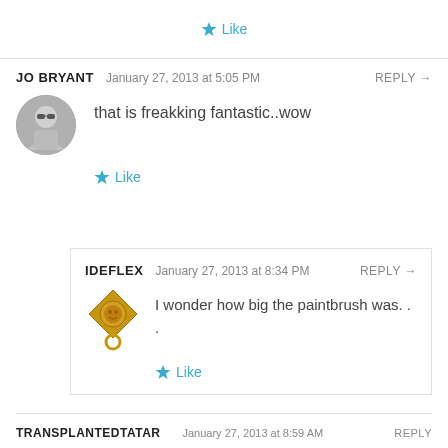Like
JO BRYANT  January 27, 2013 at 5:05 PM  REPLY →
that is freakking fantastic..wow
Like
IDEFLEX  January 27, 2013 at 8:34 PM  REPLY →
I wonder how big the paintbrush was. . .
Like
TRANSPLANTEDTATAR  January 27, 2013 at 8:59 AM  REPLY